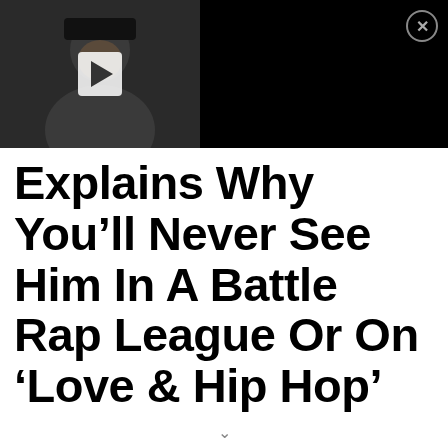[Figure (screenshot): Video thumbnail banner with play button on left and text on right reading: The Game Says “With Dr. Dre Or Without Dr. Dre, I Was Gonna Be Great.” with a close (X) button in top-right corner]
Explains Why You’ll Never See Him In A Battle Rap League Or On ‘Love & Hip Hop’